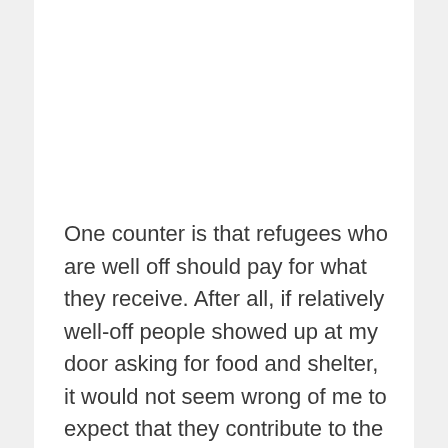One counter is that refugees who are well off should pay for what they receive. After all, if relatively well-off people showed up at my door asking for food and shelter, it would not seem wrong of me to expect that they contribute to the cost of things. After all, if they can afford it, then they have no grounds to claim a free ride off me. Likewise for well-off refugees. That said, the law does not